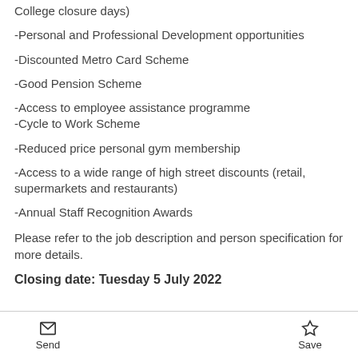College closure days)
-Personal and Professional Development opportunities
-Discounted Metro Card Scheme
-Good Pension Scheme
-Access to employee assistance programme
-Cycle to Work Scheme
-Reduced price personal gym membership
-Access to a wide range of high street discounts (retail, supermarkets and restaurants)
-Annual Staff Recognition Awards
Please refer to the job description and person specification for more details.
Closing date: Tuesday 5 July 2022
Send  Save